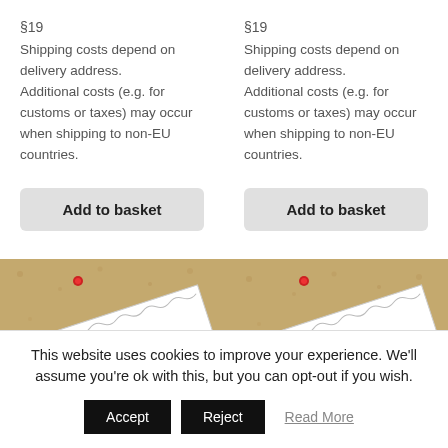§19
Shipping costs depend on delivery address.
Additional costs (e.g. for customs or taxes) may occur when shipping to non-EU countries.
§19
Shipping costs depend on delivery address.
Additional costs (e.g. for customs or taxes) may occur when shipping to non-EU countries.
Add to basket
Add to basket
[Figure (photo): Photo of a cork board with a pinned paper/certificate, red pin visible, partial text on paper]
[Figure (photo): Photo of a cork board with a pinned paper/certificate showing ROMANICA text, red pin visible]
This website uses cookies to improve your experience. We'll assume you're ok with this, but you can opt-out if you wish.
Accept
Reject
Read More